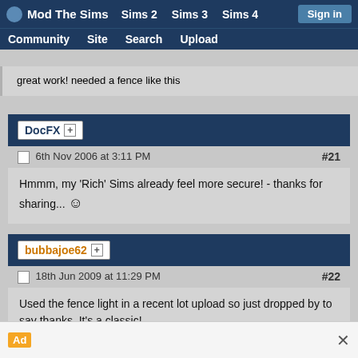Mod The Sims  Sims 2  Sims 3  Sims 4  Sign in  Community  Site  Search  Upload
great work! needed a fence like this
DocFX [+]
6th Nov 2006 at 3:11 PM  #21
Hmmm, my 'Rich' Sims already feel more secure! - thanks for sharing... 🙂
bubbajoe62 [+]
18th Jun 2009 at 11:29 PM  #22
Used the fence light in a recent lot upload so just dropped by to say thanks. It's a classic!
Ad  ×